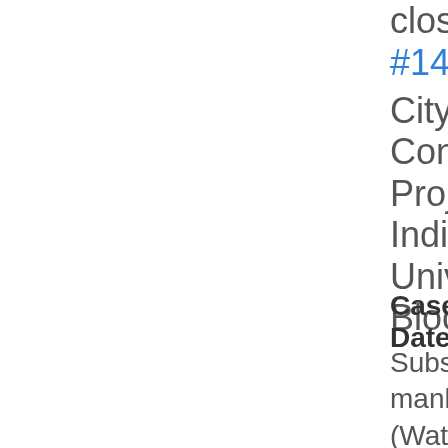closed
#147557
City Construction Projects Indiana University, Bloomington
Case Date: 8/20/2
Subsidence of manhole cover. (Water) I have seen no less than 3 people stumble due to 1/2" drop. Maybe bevel